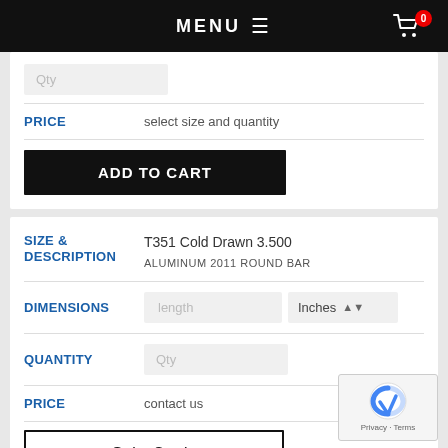MENU
Qty
PRICE: select size and quantity
ADD TO CART
SIZE & DESCRIPTION
T351 Cold Drawn 3.500
ALUMINUM 2011 ROUND BAR
DIMENSIONS
length | Inches
QUANTITY
Qty
PRICE
contact us
Get a Quote